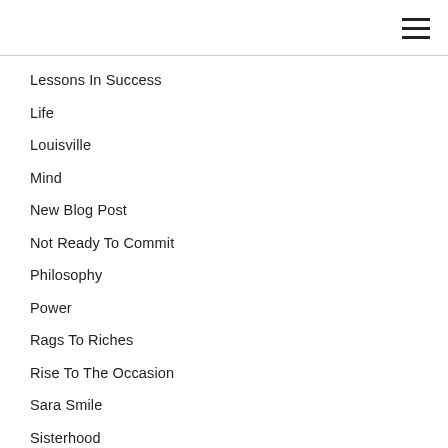Lessons In Success
Life
Louisville
Mind
New Blog Post
Not Ready To Commit
Philosophy
Power
Rags To Riches
Rise To The Occasion
Sara Smile
Sisterhood
Started From The Bottom
Steve Jobs
Taraji P. Henson
The Perfect Girl